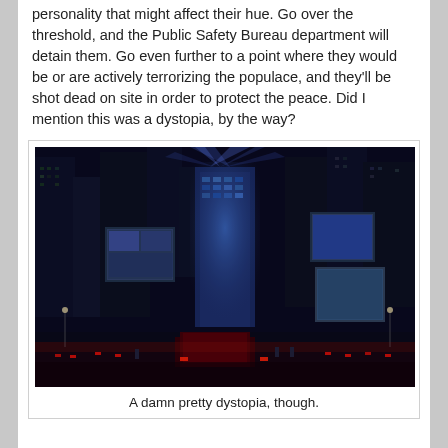personality that might affect their hue.  Go over the threshold, and the Public Safety Bureau department will detain them.  Go even further to a point where they would be or are actively terrorizing the populace, and they'll be shot dead on site in order to protect the peace.  Did I mention this was a dystopia, by the way?
[Figure (illustration): A dark futuristic cityscape at night with tall illuminated skyscrapers, blue glowing building in the center, large billboard screens, and a street scene with red-lit vehicles and police presence. Anime/sci-fi art style resembling the world of Psycho-Pass.]
A damn pretty dystopia, though.